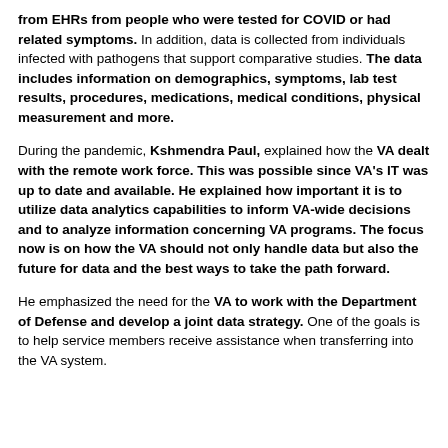from EHRs from people who were tested for COVID or had related symptoms. In addition, data is collected from individuals infected with pathogens that support comparative studies. The data includes information on demographics, symptoms, lab test results, procedures, medications, medical conditions, physical measurement and more.
During the pandemic, Kshmendra Paul, explained how the VA dealt with the remote work force. This was possible since VA's IT was up to date and available. He explained how important it is to utilize data analytics capabilities to inform VA-wide decisions and to analyze information concerning VA programs. The focus now is on how the VA should not only handle data but also the future for data and the best ways to take the path forward.
He emphasized the need for the VA to work with the Department of Defense and develop a joint data strategy. One of the goals is to help service members receive assistance when transferring into the VA system...